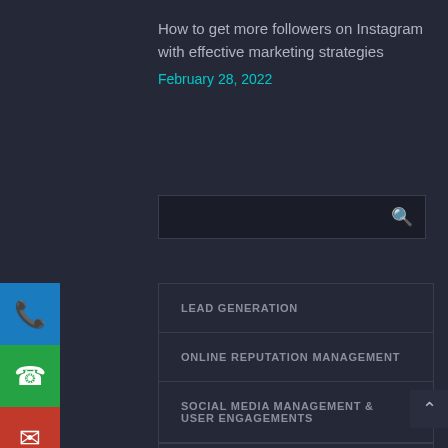How to get more followers on Instagram with effective marketing strategies
February 28, 2022
[Figure (other): Search input box with search icon]
[Figure (infographic): Side contact buttons: phone (blue), WhatsApp (green), email (red)]
LEAD GENERATION
ONLINE REPUTATION MANAGEMENT
SOCIAL MEDIA MANAGEMENT & USER ENGAGEMENTS